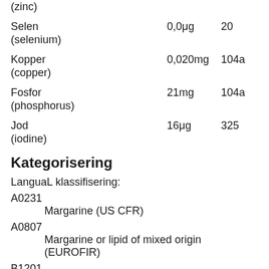(zinc)
Selen (selenium)    0,0μg    20
Kopper (copper)    0,020mg    104a
Fosfor (phosphorus)    21mg    104a
Jod (iodine)    16μg    325
Kategorisering
LanguaL klassifisering:
A0231
    Margarine (US CFR)
A0807
    Margarine or lipid of mixed origin (EUROFIR)
B1201